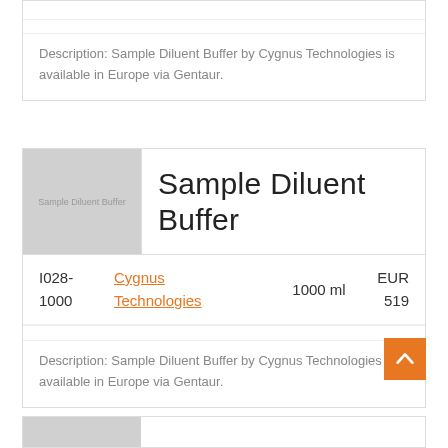Description: Sample Diluent Buffer by Cygnus Technologies is available in Europe via Gentaur.
Sample Diluent Buffer
| ID | Brand | Volume | Price |
| --- | --- | --- | --- |
| I028-1000 | Cygnus Technologies | 1000 ml | EUR 519 |
Description: Sample Diluent Buffer by Cygnus Technologies is available in Europe via Gentaur.